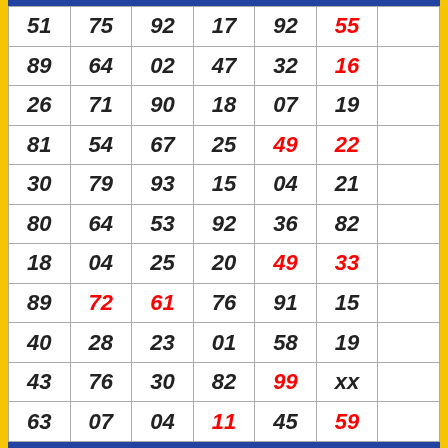| 51 | 75 | 92 | 17 | 92 | 55 |  |
| 89 | 64 | 02 | 47 | 32 | 16 |  |
| 26 | 71 | 90 | 18 | 07 | 19 |  |
| 81 | 54 | 67 | 25 | 49 | 22 |  |
| 30 | 79 | 93 | 15 | 04 | 21 |  |
| 80 | 64 | 53 | 92 | 36 | 82 |  |
| 18 | 04 | 25 | 20 | 49 | 33 |  |
| 89 | 72 | 61 | 76 | 91 | 15 |  |
| 40 | 28 | 23 | 01 | 58 | 19 |  |
| 43 | 76 | 30 | 82 | 99 | xx |  |
| 63 | 07 | 04 | 11 | 45 | 59 |  |